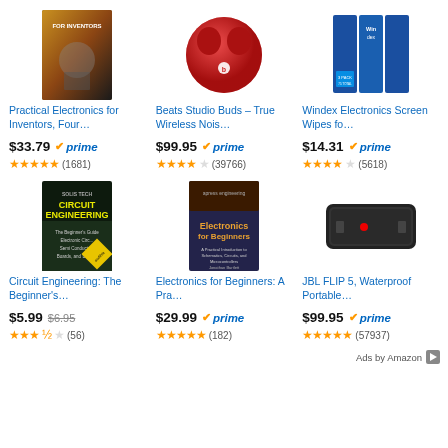[Figure (photo): Practical Electronics for Inventors book cover]
Practical Electronics for Inventors, Four…
$33.79 prime (1681 reviews, 5 stars)
[Figure (photo): Beats Studio Buds red earbuds in case]
Beats Studio Buds – True Wireless Nois…
$99.95 prime (39766 reviews, 4.5 stars)
[Figure (photo): Windex Electronics Screen Wipes 3-pack]
Windex Electronics Screen Wipes fo…
$14.31 prime (5618 reviews, 4.5 stars)
[Figure (photo): Circuit Engineering book cover - The Beginner's Guide...]
Circuit Engineering: The Beginner's…
$5.99 (was $6.95) (56 reviews, 3.5 stars)
[Figure (photo): Electronics for Beginners book cover]
Electronics for Beginners: A Pra…
$29.99 prime (182 reviews, 5 stars)
[Figure (photo): JBL FLIP 5 waterproof portable Bluetooth speaker]
JBL FLIP 5, Waterproof Portable…
$99.95 prime (57937 reviews, 5 stars)
Ads by Amazon